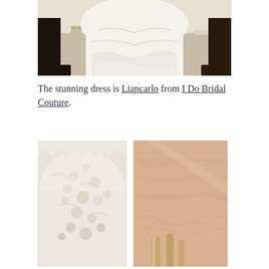[Figure (photo): Close-up photograph of the lower portion of a white wedding dress displayed on a stand, with ornate patterned carpet floor visible and dark wooden furniture legs on either side, against a cream wall.]
The stunning dress is Liancarlo from I Do Bridal Couture.
[Figure (photo): Close-up detail photograph of white lace fabric on a bridal gown, showing intricate floral lace pattern and scalloped edge.]
[Figure (photo): Close-up photograph of soft peachy-pink tulle fabric with what appears to be gold or ivory ribbon or satin beneath it, softly lit.]